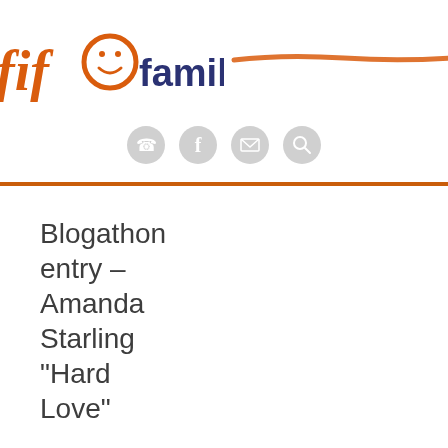[Figure (logo): myfifo family logo with orange handwritten 'fifo' text and smiley face, dark navy 'my' and 'family' text, with orange underline brush stroke]
[Figure (other): Row of four circular grey icon buttons: phone, facebook, email, search]
Blogathon entry – Amanda Starling "Hard Love"
November 27, 2014  /  admin  /  Blogathon